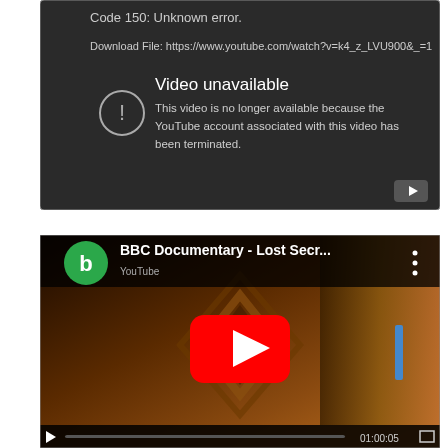[Figure (screenshot): YouTube error screenshot showing 'Code 150: Unknown error.' and 'Download File: https://www.youtube.com/watch?v=k4_z_LVU900&_=1' with a dark video player showing 'Video unavailable - This video is no longer available because the YouTube account associated with this video has been terminated.' with a warning icon and YouTube logo button.]
[Figure (screenshot): YouTube embedded video player showing BBC Documentary - Lost Secr... with a green circular 'b' logo icon, three-dot menu, red YouTube play button overlay on a thumbnail of Islamic calligraphy art with ornate geometric patterns, and a video progress bar at the bottom showing duration around 01:00:05.]